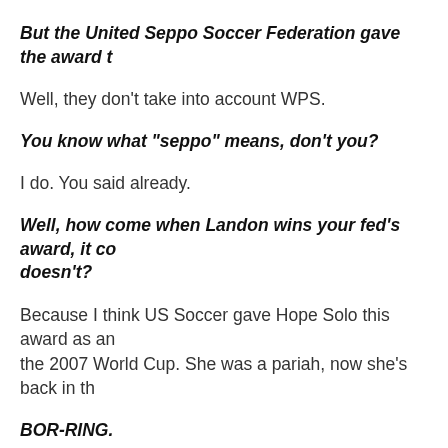But the United Seppo Soccer Federation gave the award t
Well, they don't take into account WPS.
You know what "seppo" means, don't you?
I do. You said already.
Well, how come when Landon wins your fed's award, it co doesn't?
Because I think US Soccer gave Hope Solo this award as an the 2007 World Cup. She was a pariah, now she's back in th
BOR-RING.
Okay, well, congratulations to Landon and Christie-